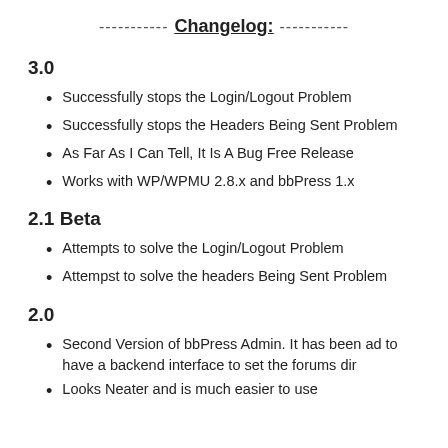----------- Changelog: -----------
3.0
Successfully stops the Login/Logout Problem
Successfully stops the Headers Being Sent Problem
As Far As I Can Tell, It Is A Bug Free Release
Works with WP/WPMU 2.8.x and bbPress 1.x
2.1 Beta
Attempts to solve the Login/Logout Problem
Attempst to solve the headers Being Sent Problem
2.0
Second Version of bbPress Admin. It has been ad... to have a backend interface to set the forums dir...
Looks Neater and is much easier to use